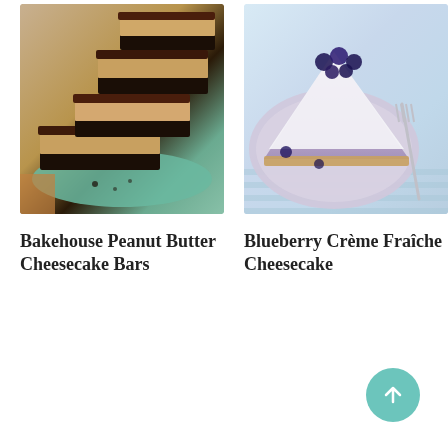[Figure (photo): Stacked peanut butter cheesecake bars with chocolate layers on a teal/mint plate]
[Figure (photo): A slice of blueberry crème fraîche cheesecake with white glaze and fresh blueberries on top, on a lavender plate with a fork]
Bakehouse Peanut Butter Cheesecake Bars
Blueberry Crème Fraîche Cheesecake